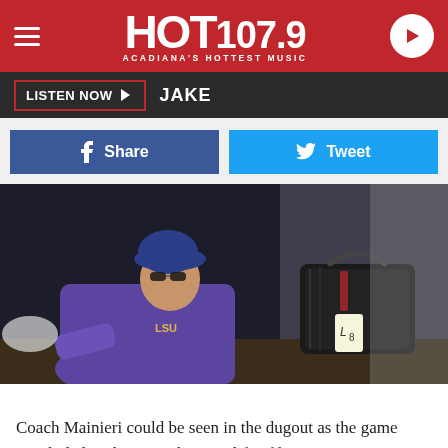HOT 107.9 ACADIANA'S HOTTEST MUSIC
LISTEN NOW  JAKE
Share  Tweet
[Figure (photo): Coach Mainieri sitting in the baseball dugout, wearing a purple LSU cap and jersey, with a large black equipment bag with a luggage tag nearby]
Coach Mainieri could be seen in the dugout as the game concluded soaking in what was life of his time at Louisiana